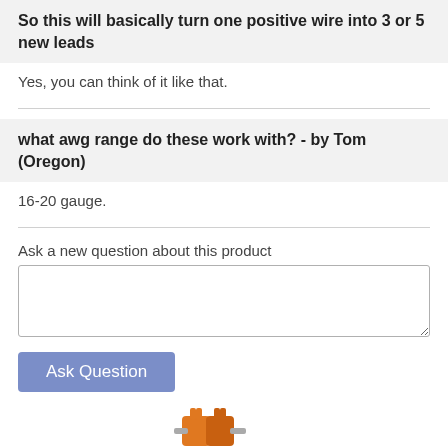So this will basically turn one positive wire into 3 or 5 new leads
Yes, you can think of it like that.
what awg range do these work with? - by Tom (Oregon)
16-20 gauge.
Ask a new question about this product
[Figure (other): Orange wire connectors product image at the bottom of the page]